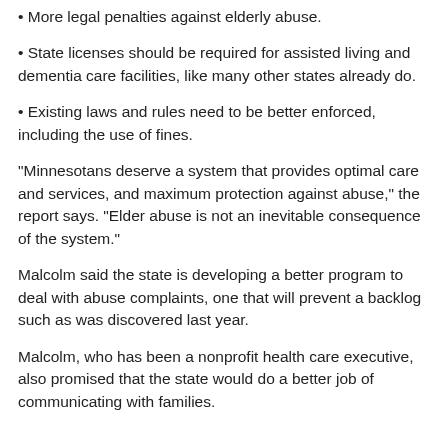• More legal penalties against elderly abuse.
• State licenses should be required for assisted living and dementia care facilities, like many other states already do.
• Existing laws and rules need to be better enforced, including the use of fines.
"Minnesotans deserve a system that provides optimal care and services, and maximum protection against abuse," the report says. "Elder abuse is not an inevitable consequence of the system."
Malcolm said the state is developing a better program to deal with abuse complaints, one that will prevent a backlog such as was discovered last year.
Malcolm, who has been a nonprofit health care executive, also promised that the state would do a better job of communicating with families.